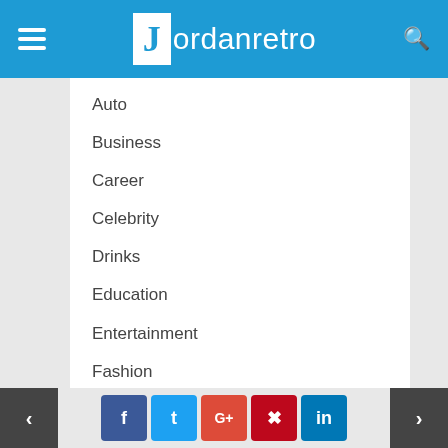Jordanretro
Auto
Business
Career
Celebrity
Drinks
Education
Entertainment
Fashion
Finance
Fitness
Food
< f t G+ p in >